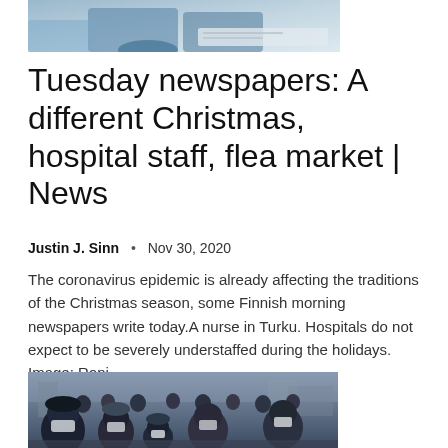[Figure (photo): Partial view of a healthcare worker or person in blue scrubs/uniform, cropped at top of page]
Tuesday newspapers: A different Christmas, hospital staff, flea market | News
Justin J. Sinn  •  Nov 30, 2020
The coronavirus epidemic is already affecting the traditions of the Christmas season, some Finnish morning newspapers write today.A nurse in Turku. Hospitals do not expect to be severely understaffed during the holidays. Image: Roni...
[Figure (photo): Crowd of people wearing face masks outdoors in a public square, likely a Finnish city, during the COVID-19 pandemic]